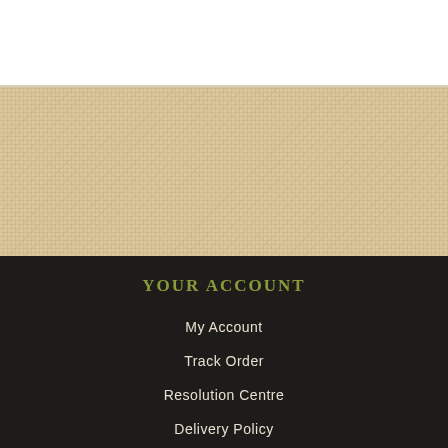[Figure (photo): Top white area above burlap textured background section]
YOUR ACCOUNT
My Account
Track Order
Resolution Centre
Delivery Policy